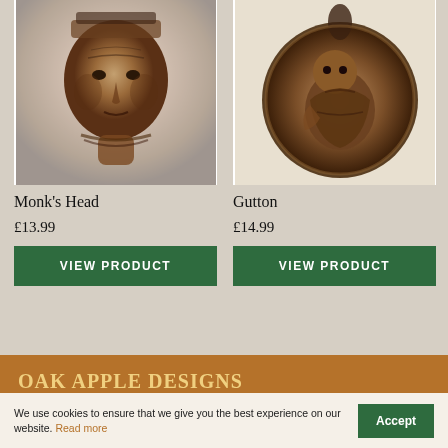[Figure (photo): Carved wooden monk's head sculpture, close-up portrait view, dark brown tones]
[Figure (photo): Circular carved wooden medallion depicting a crouching figure (Gutton), dark brown tones]
Monk's Head
£13.99
VIEW PRODUCT
Gutton
£14.99
VIEW PRODUCT
OAK APPLE DESIGNS
We use cookies to ensure that we give you the best experience on our website. Read more